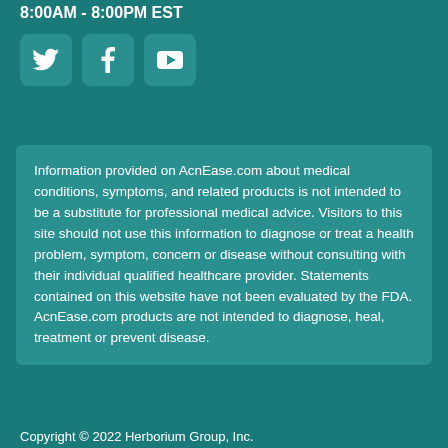8:00AM - 8:00PM EST
[Figure (illustration): Social media icons for Twitter, Facebook, and YouTube in rounded square containers]
Information provided on AcnEase.com about medical conditions, symptoms, and related products is not intended to be a substitute for professional medical advice. Visitors to this site should not use this information to diagnose or treat a health problem, symptom, concern or disease without consulting with their individual qualified healthcare provider. Statements contained on this website have not been evaluated by the FDA. AcnEase.com products are not intended to diagnose, heal, treatment or prevent disease.
Copyright © 2022 Herborium Group, Inc.